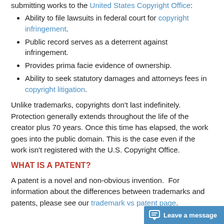submitting works to the United States Copyright Office:
Ability to file lawsuits in federal court for copyright infringement.
Public record serves as a deterrent against infringement.
Provides prima facie evidence of ownership.
Ability to seek statutory damages and attorneys fees in copyright litigation.
Unlike trademarks, copyrights don’t last indefinitely. Protection generally extends throughout the life of the creator plus 70 years. Once this time has elapsed, the work goes into the public domain. This is the case even if the work isn’t registered with the U.S. Copyright Office.
WHAT IS A PATENT?
A patent is a novel and non-obvious invention.  For information about the differences between trademarks and patents, please see our trademark vs patent page.